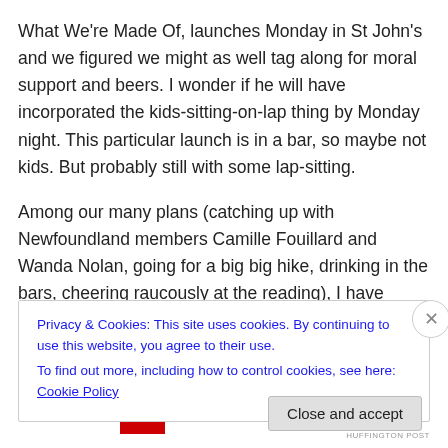What We're Made Of, launches Monday in St John's and we figured we might as well tag along for moral support and beers. I wonder if he will have incorporated the kids-sitting-on-lap thing by Monday night. This particular launch is in a bar, so maybe not kids. But probably still with some lap-sitting.
Among our many plans (catching up with Newfoundland members Camille Fouillard and Wanda Nolan, going for a big big hike, drinking in the bars, cheering raucously at the reading), I have plans to steal some time for Fallsy
Privacy & Cookies: This site uses cookies. By continuing to use this website, you agree to their use.
To find out more, including how to control cookies, see here: Cookie Policy
Close and accept